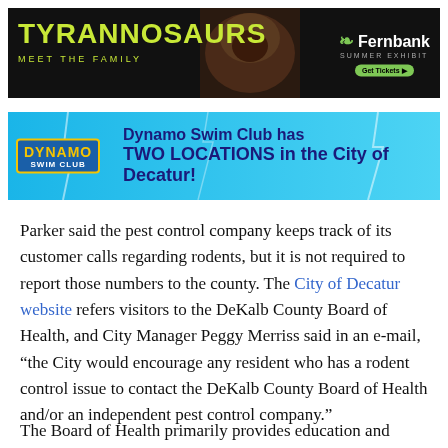[Figure (other): Advertisement banner for Tyrannosaurs: Meet the Family summer exhibit at Fernbank. Black background with yellow-green dinosaur text on left and Fernbank logo with Get Tickets button on right.]
[Figure (other): Advertisement banner for Dynamo Swim Club with blue lightning background. Text reads: Dynamo Swim Club has TWO LOCATIONS in the City of Decatur!]
Parker said the pest control company keeps track of its customer calls regarding rodents, but it is not required to report those numbers to the county. The City of Decatur website refers visitors to the DeKalb County Board of Health, and City Manager Peggy Merriss said in an e-mail, “the City would encourage any resident who has a rodent control issue to contact the DeKalb County Board of Health and/or an independent pest control company.”
The Board of Health primarily provides education and information...